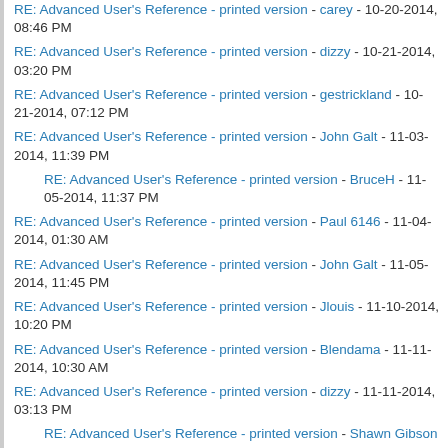RE: Advanced User's Reference - printed version - carey - 10-20-2014, 08:46 PM
RE: Advanced User's Reference - printed version - dizzy - 10-21-2014, 03:20 PM
RE: Advanced User's Reference - printed version - gestrickland - 10-21-2014, 07:12 PM
RE: Advanced User's Reference - printed version - John Galt - 11-03-2014, 11:39 PM
RE: Advanced User's Reference - printed version - BruceH - 11-05-2014, 11:37 PM
RE: Advanced User's Reference - printed version - Paul 6146 - 11-04-2014, 01:30 AM
RE: Advanced User's Reference - printed version - John Galt - 11-05-2014, 11:45 PM
RE: Advanced User's Reference - printed version - Jlouis - 11-10-2014, 10:20 PM
RE: Advanced User's Reference - printed version - Blendama - 11-11-2014, 10:30 AM
RE: Advanced User's Reference - printed version - dizzy - 11-11-2014, 03:13 PM
RE: Advanced User's Reference - printed version - Shawn Gibson - 11-11-2014, 04:31 PM
RE: Advanced User's Reference - printed version - dizzy - 11-11-2014, 04:59 PM
RE: Advanced User's Reference - printed version - Thomas_Sch - 11-10-2014, 01:48 PM